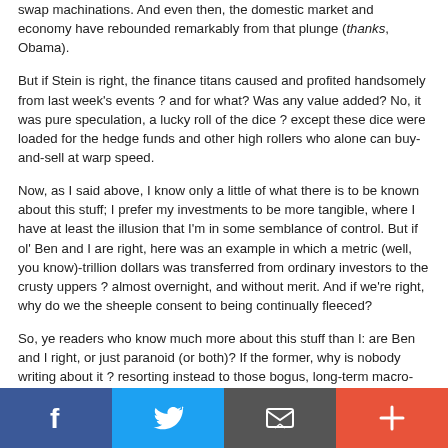swap machinations. And even then, the domestic market and economy have rebounded remarkably from that plunge (thanks, Obama).
But if Stein is right, the finance titans caused and profited handsomely from last week's events ? and for what? Was any value added? No, it was pure speculation, a lucky roll of the dice ? except these dice were loaded for the hedge funds and other high rollers who alone can buy-and-sell at warp speed.
Now, as I said above, I know only a little of what there is to be known about this stuff; I prefer my investments to be more tangible, where I have at least the illusion that I'm in some semblance of control. But if ol' Ben and I are right, here was an example in which a metric (well, you know)-trillion dollars was transferred from ordinary investors to the crusty uppers ? almost overnight, and without merit. And if we're right, why do we the sheeple consent to being continually fleeced?
So, ye readers who know much more about this stuff than I: are Ben and I right, or just paranoid (or both)? If the former, why is nobody writing about it ? resorting instead to those bogus, long-term macro-economic explanations of a blindingly short-term phenomenon? Is it obvious, in a welcome-to-the-party kind of way? And if not, what is it?
[Figure (infographic): Social share bar with four buttons: Facebook (blue), Twitter (light blue), Email/envelope (dark grey), Plus/add (orange-red)]